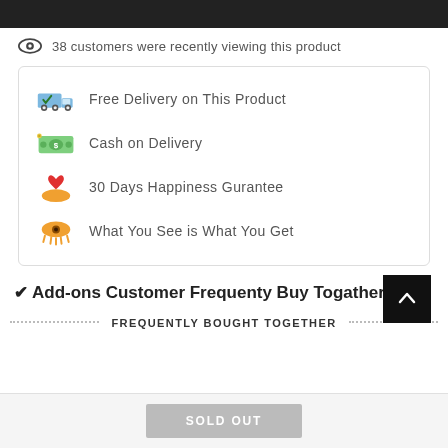38 customers were recently viewing this product
Free Delivery on This Product
Cash on Delivery
30 Days Happiness Gurantee
What You See is What You Get
✔Add-ons Customer Frequenty Buy Togather:
FREQUENTLY BOUGHT TOGETHER
SOLD OUT